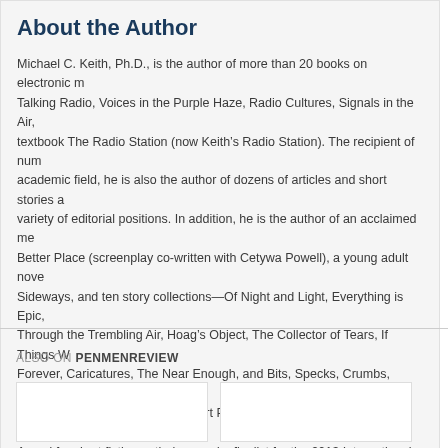About the Author
Michael C. Keith, Ph.D., is the author of more than 20 books on electronic m... Talking Radio, Voices in the Purple Haze, Radio Cultures, Signals in the Air, textbook The Radio Station (now Keith's Radio Station). The recipient of num academic field, he is also the author of dozens of articles and short stories a variety of editorial positions. In addition, he is the author of an acclaimed me Better Place (screenplay co-written with Cetywa Powell), a young adult nove Sideways, and ten story collections—Of Night and Light, Everything is Epic, Through the Trembling Air, Hoag's Object, The Collector of Tears, If Things W Forever, Caricatures, The Near Enough, and Bits, Specks, Crumbs, Flecks. nominated five times for a Pushcart Prize and was a finalist for the National Award for short fiction anthology and a finalist for the 2013 International Boo “Fiction Visionary” category. www.michaelckeith.com
ALSO ON PENMENREVIEW